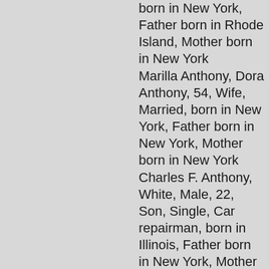born in New York, Father born in Rhode Island, Mother born in New York
Marilla Anthony, Dora Anthony, 54, Wife, Married, born in New York, Father born in New York, Mother born in New York
Charles F. Anthony, White, Male, 22, Son, Single, Car repairman, born in Illinois, Father born in New York, Mother born in New York
Edward E. Anthony, White, Male, 20, Son, Single, Works In Packing House, born in Iowa, Father born in New York, Mother born in New York
Riley Anthony, White,